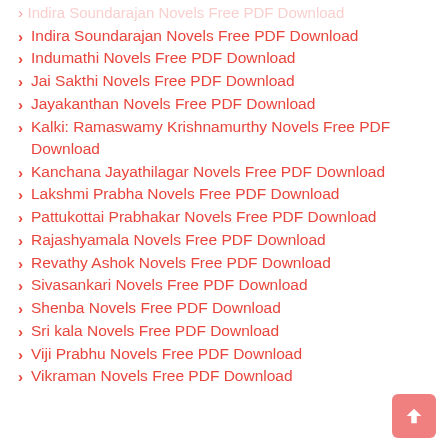Indira Soundarajan Novels Free PDF Download
Indumathi Novels Free PDF Download
Jai Sakthi Novels Free PDF Download
Jayakanthan Novels Free PDF Download
Kalki: Ramaswamy Krishnamurthy Novels Free PDF Download
Kanchana Jayathilagar Novels Free PDF Download
Lakshmi Prabha Novels Free PDF Download
Pattukottai Prabhakar Novels Free PDF Download
Rajashyamala Novels Free PDF Download
Revathy Ashok Novels Free PDF Download
Sivasankari Novels Free PDF Download
Shenba Novels Free PDF Download
Sri kala Novels Free PDF Download
Viji Prabhu Novels Free PDF Download
Vikraman Novels Free PDF Download